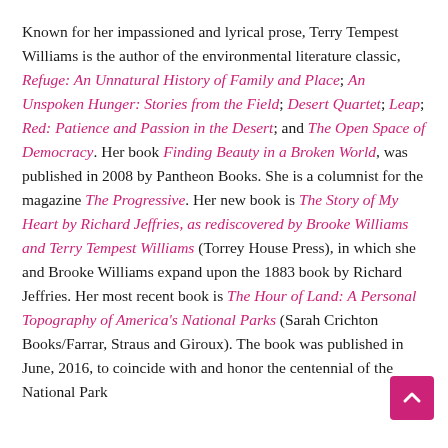Known for her impassioned and lyrical prose, Terry Tempest Williams is the author of the environmental literature classic, Refuge: An Unnatural History of Family and Place; An Unspoken Hunger: Stories from the Field; Desert Quartet; Leap; Red: Patience and Passion in the Desert; and The Open Space of Democracy. Her book Finding Beauty in a Broken World, was published in 2008 by Pantheon Books. She is a columnist for the magazine The Progressive. Her new book is The Story of My Heart by Richard Jeffries, as rediscovered by Brooke Williams and Terry Tempest Williams (Torrey House Press), in which she and Brooke Williams expand upon the 1883 book by Richard Jeffries. Her most recent book is The Hour of Land: A Personal Topography of America's National Parks (Sarah Crichton Books/Farrar, Straus and Giroux). The book was published in June, 2016, to coincide with and honor the centennial of the National Park